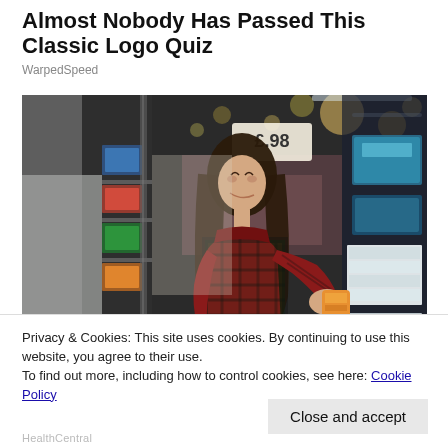Almost Nobody Has Passed This Classic Logo Quiz
WarpedSpeed
[Figure (photo): Woman in a plaid shirt browsing products on shelves in a supermarket/grocery store aisle, with bokeh lights in the background and a price tag visible.]
Privacy & Cookies: This site uses cookies. By continuing to use this website, you agree to their use.
To find out more, including how to control cookies, see here: Cookie Policy
HealthCentral